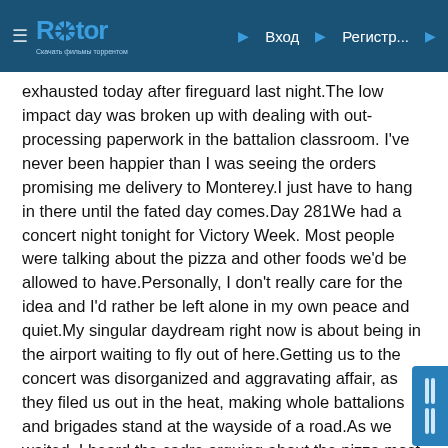Rutor | Вход | Регистр...
exhausted today after fireguard last night.The low impact day was broken up with dealing with out-processing paperwork in the battalion classroom. I've never been happier than I was seeing the orders promising me delivery to Monterey.I just have to hang in there until the fated day comes.Day 281We had a concert night tonight for Victory Week. Most people were talking about the pizza and other foods we'd be allowed to have.Personally, I don't really care for the idea and I'd rather be left alone in my own peace and quiet.My singular daydream right now is about being in the airport waiting to fly out of here.Getting us to the concert was disorganized and aggravating affair, as they filed us out in the heat, making whole battalions and brigades stand at the wayside of a road.As we waited, I heard the cadre arguing about the pizza most people bought into. There was some disagreement about who was even supposed to have the right to order some.I'm glad I opted not to join in and deal with that mess.After a short parade, we were all moved down to the main area of the field and sat down in the grass to sit through a memorial service.Once that was